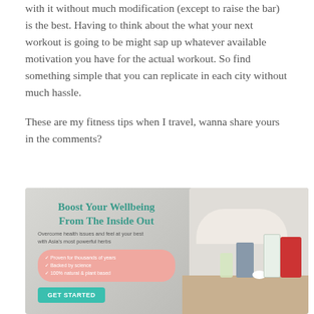with it without much modification (except to raise the bar) is the best. Having to think about the what your next workout is going to be might sap up whatever available motivation you have for the actual workout. So find something simple that you can replicate in each city without much hassle.
These are my fitness tips when I travel, wanna share yours in the comments?
[Figure (illustration): Advertisement banner for a health supplement brand. Teal headline 'Boost Your Wellbeing From The Inside Out', subtext 'Overcome health issues and feel at your best with Asia's most powerful herbs', pink rounded-rectangle bullet list with checkmarks: 'Proven for thousands of years', 'Backed by science', '100% natural & plant based', teal 'GET STARTED' button. Right side shows products: PEGAGA supplement pouch, red Korean herb package, small box, bowl with powder, glass with green drink, on a wooden table surface with a person in white holding a jar in the background.]